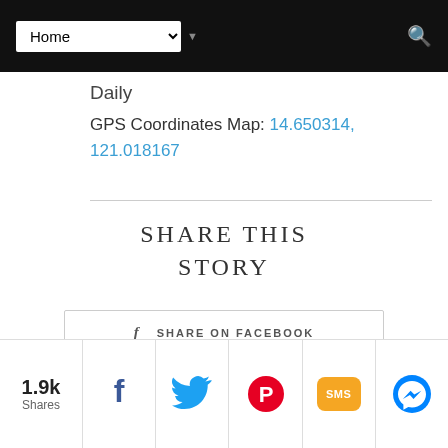Home (navigation dropdown)
Daily
GPS Coordinates Map: 14.650314, 121.018167
SHARE THIS STORY
SHARE ON FACEBOOK
SHARE ON TWITTER
PIN THIS POST
1.9k Shares